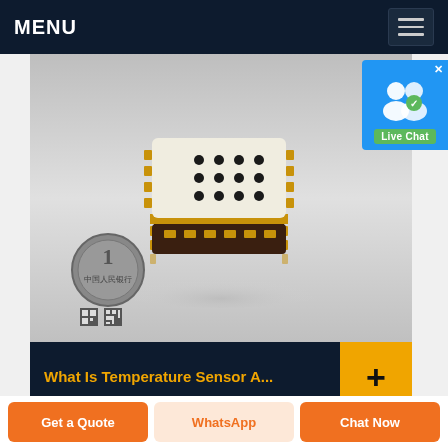MENU
[Figure (photo): Small square electronic temperature sensor chip with perforated top surface, gold side contacts, dark brown body, shown next to a Chinese 1-yuan coin for scale]
[Figure (infographic): Live Chat button with blue background, user icon, and green label]
What Is Temperature Sensor A...
24/07/2020 · Thermocouples are generally
Get a Quote | WhatsApp | Chat Now